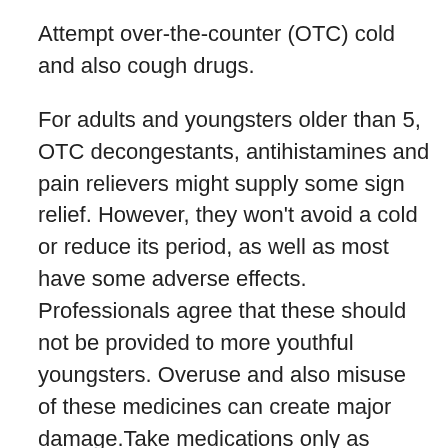Attempt over-the-counter (OTC) cold and also cough drugs.
For adults and youngsters older than 5, OTC decongestants, antihistamines and pain relievers might supply some sign relief. However, they won't avoid a cold or reduce its period, as well as most have some adverse effects. Professionals agree that these should not be provided to more youthful youngsters. Overuse and also misuse of these medicines can create major damage.Take medications only as guided.